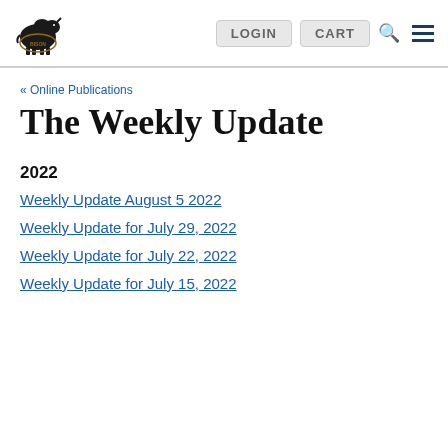LOGIN  CART  [search]  [menu]
« Online Publications
The Weekly Update
2022
Weekly Update August 5 2022
Weekly Update for July 29, 2022
Weekly Update for July 22, 2022
Weekly Update for July 15, 2022